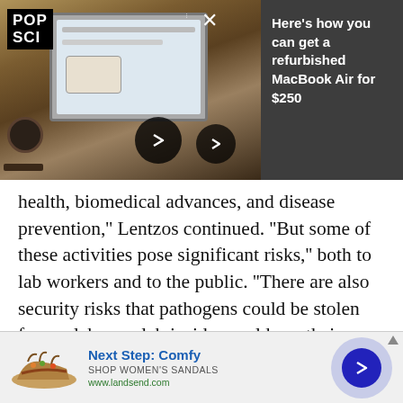[Figure (screenshot): Top banner showing a POP SCI branded image of a person using a laptop, with navigation arrows, dots and X icons. Right side shows dark grey panel with promotional text.]
Here's how you can get a refurbished MacBook Air for $250
health, biomedical advances, and disease prevention,'' Lentzos continued. ''But some of these activities pose significant risks,'' both to lab workers and to the public. ''There are also security risks that pathogens could be stolen from a lab, or a lab insider could use their knowledge, skills, and access for malevolent purposes.''
[Figure (photo): Bottom advertisement banner for Lands' End sandals. Shows a women's sandal image on the left, ad text 'Next Step: Comfy / SHOP WOMEN'S SANDALS / www.landsend.com' in the center, and a blue arrow button on the right.]